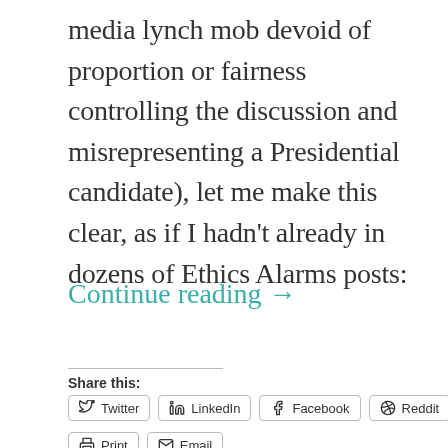media lynch mob devoid of proportion or fairness controlling the discussion and misrepresenting a Presidential candidate), let me make this clear, as if I hadn't already in dozens of Ethics Alarms posts:
Continue reading →
Share this:
Twitter | LinkedIn | Facebook | Reddit | Print | Email